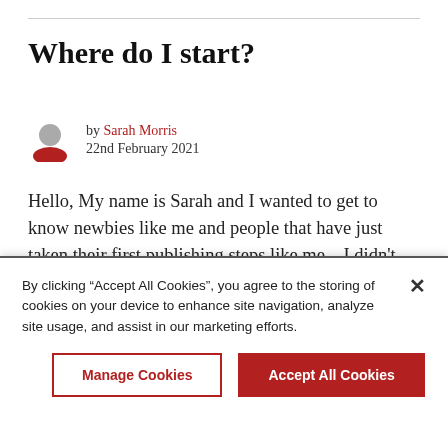Where do I start?
by Sarah Morris
22nd February 2021
Hello, My name is Sarah and I wanted to get to know newbies like me and people that have just taken their first publishing steps like me... I didn't intend to do but I am doing a writing course that the assignment asked for a mock publication enquiry..So I found a publishers and it was online submission and I pressed send. GULP lol x
By clicking “Accept All Cookies”, you agree to the storing of cookies on your device to enhance site navigation, analyze site usage, and assist in our marketing efforts.
Manage Cookies
Accept All Cookies